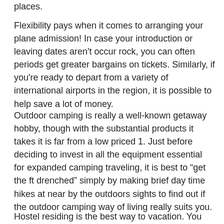places.
Flexibility pays when it comes to arranging your plane admission! In case your introduction or leaving dates aren't occur rock, you can often periods get greater bargains on tickets. Similarly, if you're ready to depart from a variety of international airports in the region, it is possible to help save a lot of money.
Outdoor camping is really a well-known getaway hobby, though with the substantial products it takes it is far from a low priced 1. Just before deciding to invest in all the equipment essential for expanded camping traveling, it is best to “get the ft drenched” simply by making brief day time hikes at near by the outdoors sights to find out if the outdoor camping way of living really suits you.
Hostel residing is the best way to vacation. You are